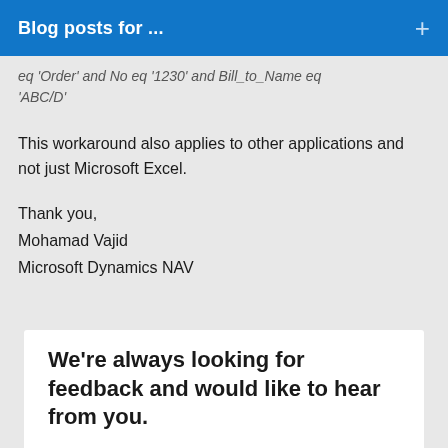Blog posts for ...
eq 'Order' and No eq '1230' and Bill_to_Name eq 'ABC/D'
This workaround also applies to other applications and not just Microsoft Excel.
Thank you,
Mohamad Vajid
Microsoft Dynamics NAV
We're always looking for feedback and would like to hear from you.